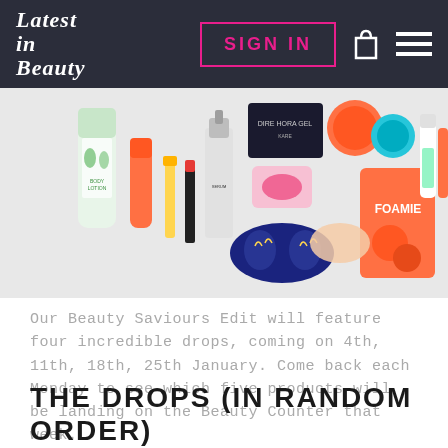Latest in Beauty | SIGN IN
[Figure (photo): Flat lay of various beauty products including body lotion, face creams, serum, lip product, eye mask, foamie bar, and other skincare and cosmetic items on white background]
Our Beauty Saviours Edit will feature four incredible drops, coming on 4th, 11th, 18th, 25th January. Come back each Monday to see which five products will be landing on the Beauty Counter that week.
THE DROPS (IN RANDOM ORDER)